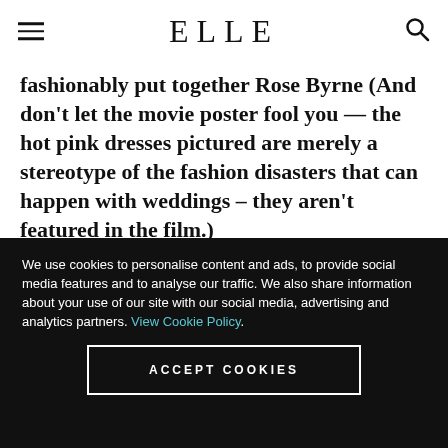ELLE
fashionably put together Rose Byrne (And don't let the movie poster fool you — the hot pink dresses pictured are merely a stereotype of the fashion disasters that can happen with weddings – they aren't featured in the film.)
We use cookies to personalise content and ads, to provide social media features and to analyse our traffic. We also share information about your use of our site with our social media, advertising and analytics partners. View Cookie Policy.
ACCEPT COOKIES